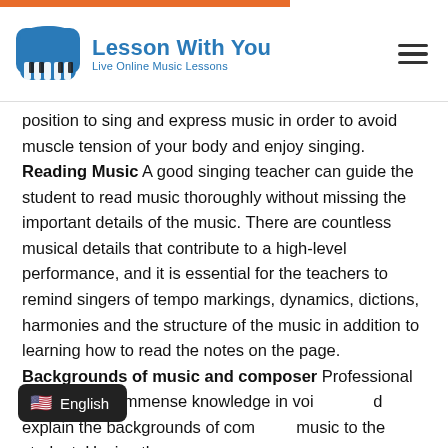Lesson With You — Live Online Music Lessons
position to sing and express music in order to avoid muscle tension of your body and enjoy singing. Reading Music A good singing teacher can guide the student to read music thoroughly without missing the important details of the music. There are countless musical details that contribute to a high-level performance, and it is essential for the teachers to remind singers of tempo markings, dynamics, dictions, harmonies and the structure of the music in addition to learning how to read the notes on the page. Backgrounds of music and composer Professional singers have immense knowledge in voice and explain the backgrounds of composer music to the student. Having the